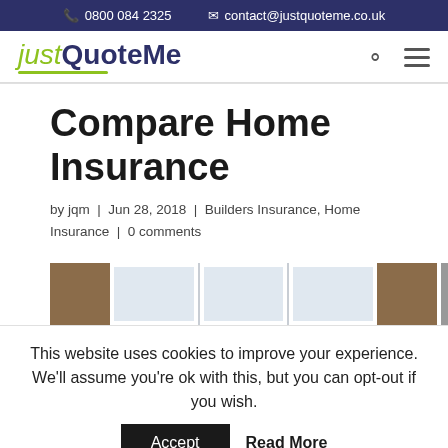0800 084 2325   contact@justquoteme.co.uk
[Figure (logo): justQuoteMe logo with green italic 'just' and dark blue bold 'QuoteMe' with green underline]
Compare Home Insurance
by jqm | Jun 28, 2018 | Builders Insurance, Home Insurance | 0 comments
[Figure (photo): Photo of a house exterior showing white double-glazed windows on a red brick wall]
This website uses cookies to improve your experience. We'll assume you're ok with this, but you can opt-out if you wish.
Accept   Read More